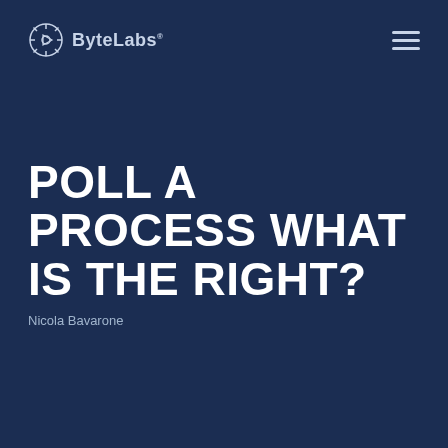[Figure (logo): ByteLabs logo with gear/brain icon and text 'ByteLabs']
POLL A PROCESS WHAT IS THE RIGHT?
Nicola Bavarone